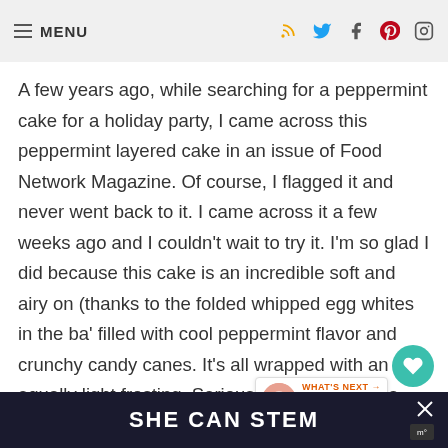MENU | social icons: RSS, Twitter, Facebook, Pinterest, Instagram
A few years ago, while searching for a peppermint cake for a holiday party, I came across this peppermint layered cake in an issue of Food Network Magazine. Of course, I flagged it and never went back to it. I came across it a few weeks ago and I couldn't wait to try it. I'm so glad I did because this cake is an incredible soft and airy on (thanks to the folded whipped egg whites in the ba' filled with cool peppermint flavor and crunchy candy canes. It's all wrapped with an equally light frosting. Seriously delightful and a holiday spectacle.
[Figure (other): Floating heart favorite button (teal circle with heart icon) and share button]
[Figure (other): What's Next widget showing Peppermint Chocolate... with thumbnail]
SHE CAN STEM